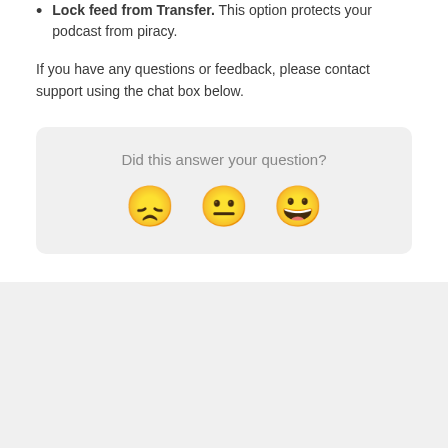Lock feed from Transfer. This option protects your podcast from piracy.
If you have any questions or feedback, please contact support using the chat box below.
[Figure (infographic): Feedback widget with text 'Did this answer your question?' and three emoji faces: disappointed (frowning), neutral, and happy (grinning).]